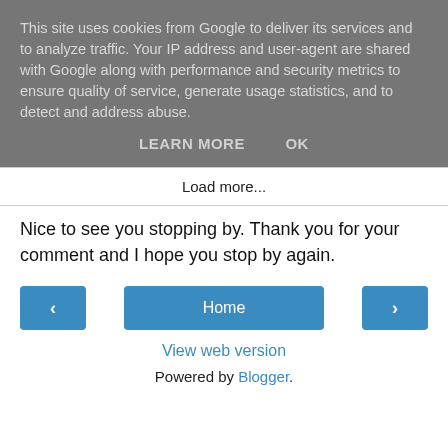This site uses cookies from Google to deliver its services and to analyze traffic. Your IP address and user-agent are shared with Google along with performance and security metrics to ensure quality of service, generate usage statistics, and to detect and address abuse.
LEARN MORE    OK
Load more...
Nice to see you stopping by. Thank you for your comment and I hope you stop by again.
‹   Home   ›
View web version
Powered by Blogger.